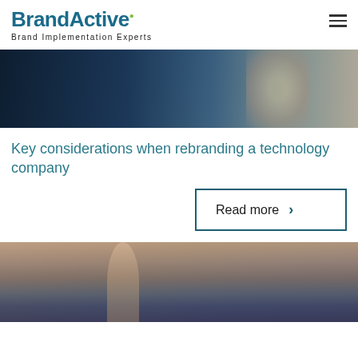BrandActive — Brand Implementation Experts
[Figure (photo): Person with glasses looking at a computer screen with code]
Key considerations when rebranding a technology company
Read more ›
[Figure (photo): People in a meeting or presentation, hand raised]